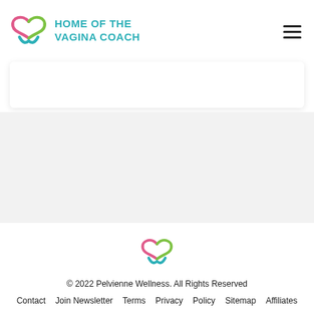[Figure (logo): Home of the Vagina Coach logo with pink and green stylized butterfly/heart shape and teal text]
[Figure (logo): Footer logo: pink and green stylized butterfly/heart icon (Pelvienne Wellness)]
© 2022 Pelvienne Wellness. All Rights Reserved
Contact   Join Newsletter   Terms   Privacy Policy   Sitemap   Affiliates